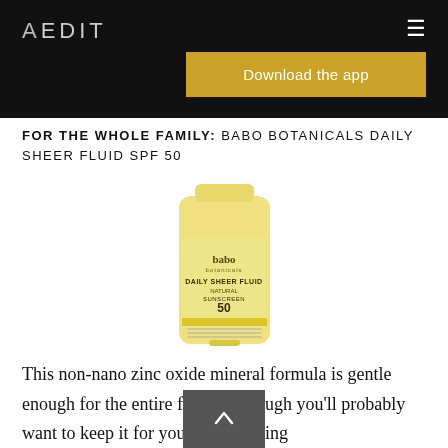AEDIT
FOR THE WHOLE FAMILY: BABO BOTANICALS DAILY SHEER FLUID SPF 50
[Figure (photo): Babo Botanicals Daily Sheer Fluid Natural Sunscreen SPF 50 product bottle in light yellow color]
This non-nano zinc oxide mineral formula is gentle enough for the entire family – though you'll probably want to keep it for yourself. Offering